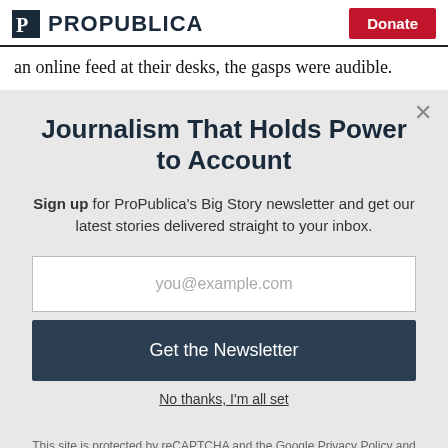ProPublica | Donate
an online feed at their desks, the gasps were audible.
Journalism That Holds Power to Account
Sign up for ProPublica's Big Story newsletter and get our latest stories delivered straight to your inbox.
you@example.com
Get the Newsletter
No thanks, I'm all set
This site is protected by reCAPTCHA and the Google Privacy Policy and Terms of Service apply.